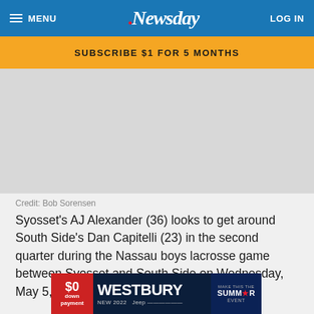MENU | Newsday | LOG IN
SUBSCRIBE $1 FOR 5 MONTHS
[Figure (photo): Gray placeholder area for a photo]
Credit: Bob Sorensen
Syosset's AJ Alexander (36) looks to get around South Side's Dan Capitelli (23) in the second quarter during the Nassau boys lacrosse game between Syosset and South Side on Wednesday, May 5, 2021 at Syosset High School.
[Figure (photo): Advertisement: Westbury Jeep dealership — $0 down payment, NEW 2022 Jeep, Make This The Summer Event]